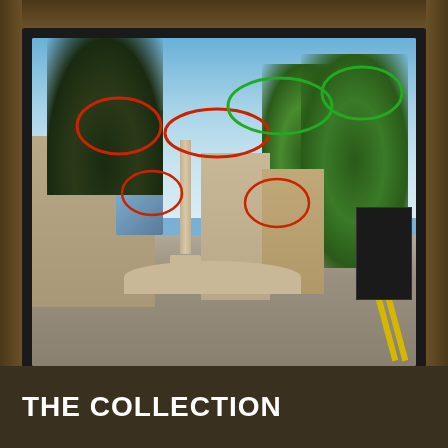[Figure (photo): Street scene photo of what appears to be a UK town square with a stone column monument, buildings (one with curved glass facade), trees including dark palm-like trees on the left and green trees on the right. Multiple colored circles are annotated on the image: red circles marking items in the left/center area (possibly hanging flower baskets and window boxes), and green circles highlighting tree canopy areas on the right side of the image.]
THE COLLECTION